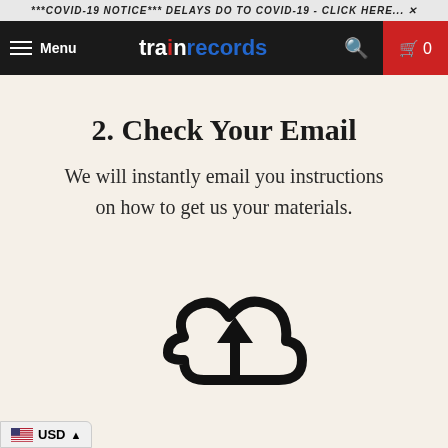***COVID-19 NOTICE*** DELAYS DO TO COVID-19 - CLICK HERE... X
[Figure (screenshot): Train Records website navigation bar with hamburger menu, logo 'trainrecords', search icon, and cart icon showing 0 items]
2. Check Your Email
We will instantly email you instructions on how to get us your materials.
[Figure (illustration): Cloud upload icon - a cloud shape with an upward arrow inside, rendered in black]
USD